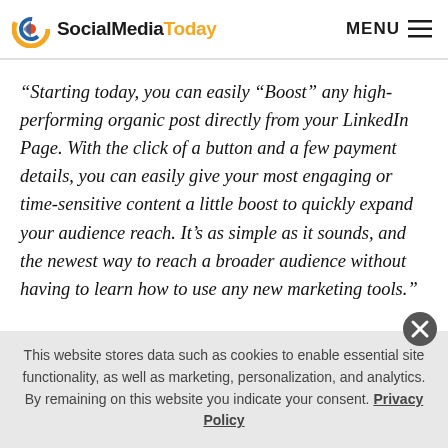SocialMediaToday | MENU
“Starting today, you can easily “Boost” any high-performing organic post directly from your LinkedIn Page. With the click of a button and a few payment details, you can easily give your most engaging or time-sensitive content a little boost to quickly expand your audience reach. It’s as simple as it sounds, and the newest way to reach a broader audience without having to learn how to use any new marketing tools.”
This website stores data such as cookies to enable essential site functionality, as well as marketing, personalization, and analytics. By remaining on this website you indicate your consent. Privacy Policy